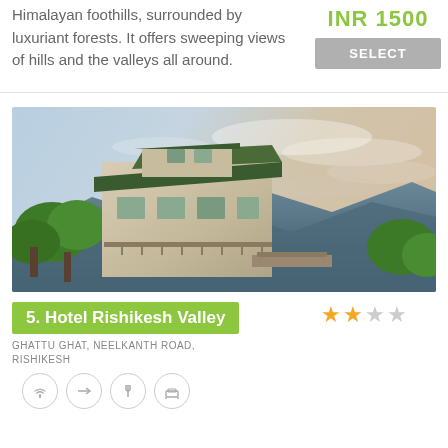Himalayan foothills, surrounded by luxuriant forests. It offers sweeping views of hills and the valleys all around.
INR 1500
SELECT
[Figure (photo): Photograph of a multi-story hotel building with green roof, surrounded by trees and lush vegetation, with mountains and a dramatic cloudy sky in the background. The building appears to be in a hillside setting.]
5. Hotel Rishikesh Valley
GHATTU GHAT, NEELKANTH ROAD, RISHIKESH
[Figure (other): Four circular icon buttons representing hotel amenities]